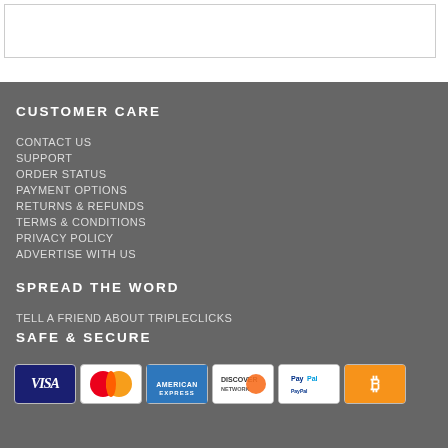CUSTOMER CARE
CONTACT US
SUPPORT
ORDER STATUS
PAYMENT OPTIONS
RETURNS & REFUNDS
TERMS & CONDITIONS
PRIVACY POLICY
ADVERTISE WITH US
SPREAD THE WORD
TELL A FRIEND ABOUT TRIPLECLICKS
SAFE & SECURE
[Figure (logo): Payment method logos: Visa, MasterCard, American Express, Discover, PayPal, Bitcoin]